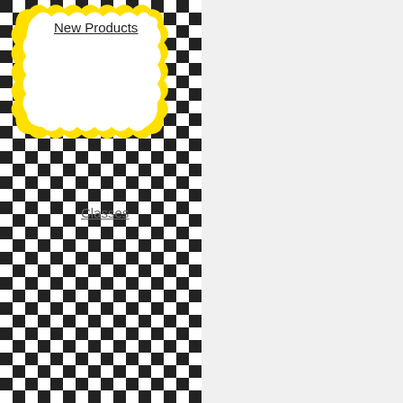[Figure (illustration): Left column with black and white checkerboard pattern background, a white cloud/scalloped shape with yellow border at top, containing 'New Products' underlined link, and 'Classes' underlined link below]
New Products
Classes
get to see what is going on will get the first glimpse pro The other important rem Yosemite Stamp Escape 2 every day.....three today, in our annual get-together. W whole weekend making people, learning new te exhausted with a bag full year you can even pay w charge to cover the Paypa you might find it a more co seeing lots of new names of our old friends as